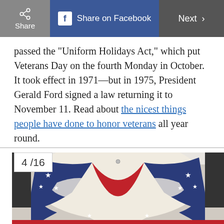Share | Share on Facebook | Next >
passed the “Uniform Holidays Act,” which put Veterans Day on the fourth Monday in October. It took effect in 1971—but in 1975, President Gerald Ford signed a law returning it to November 11. Read about the nicest things people have done to honor veterans all year round.
[Figure (photo): Patriotic American flag bunting draped decoratively, showing red, white, and blue fabric with stars, partially draped from a white molding. Gallery counter '4 /16' overlaid in top left.]